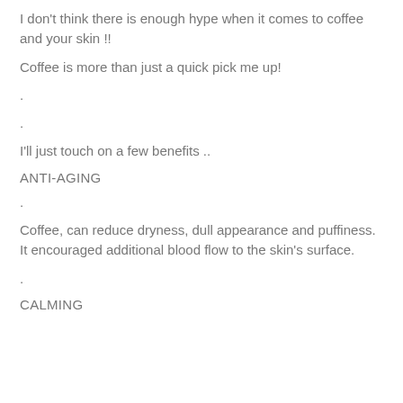I don't think there is enough hype when it comes to coffee and your skin !!
Coffee is more than just a quick pick me up!
.
.
I'll just touch on a few benefits ..
ANTI-AGING
.
Coffee, can reduce dryness, dull appearance and puffiness. It encouraged additional blood flow to the skin's surface.
.
CALMING